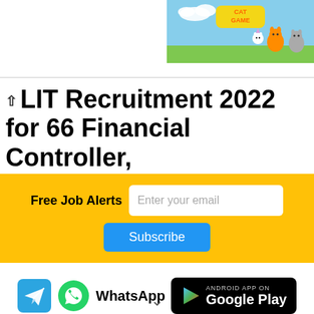[Figure (illustration): Cat Game advertisement banner with cartoon cats and colorful background in top right corner]
LIT Recruitment 2022 for 66 Financial Controller,
Free Job Alerts  [Enter your email]  Subscribe
[Figure (logo): Telegram icon (blue paper plane), WhatsApp icon with green phone logo and WhatsApp text, and Google Play badge on black background]
Subscribe to our YouTube Channel